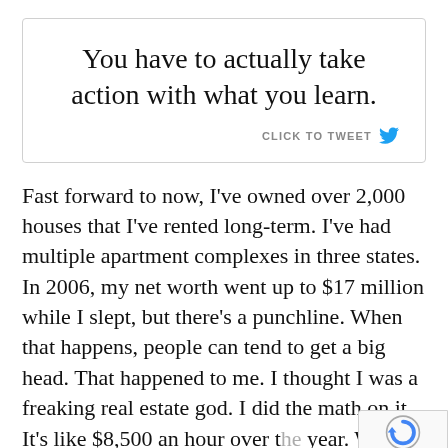You have to actually take action with what you learn.
CLICK TO TWEET
Fast forward to now, I've owned over 2,000 houses that I've rented long-term. I've had multiple apartment complexes in three states. In 2006, my net worth went up to $17 million while I slept, but there's a punchline. When that happens, people can tend to get a big head. That happened to me. I thought I was a freaking real estate god. I did the math on it. It's like $8,500 an hour over the year. When you get a big head, sometimes God or the universe, whatever you believe